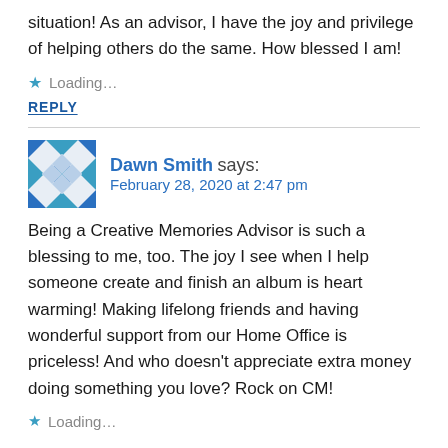situation! As an advisor, I have the joy and privilege of helping others do the same. How blessed I am!
★ Loading...
REPLY
Dawn Smith says: February 28, 2020 at 2:47 pm
Being a Creative Memories Advisor is such a blessing to me, too. The joy I see when I help someone create and finish an album is heart warming! Making lifelong friends and having wonderful support from our Home Office is priceless! And who doesn't appreciate extra money doing something you love? Rock on CM!
★ Loading...